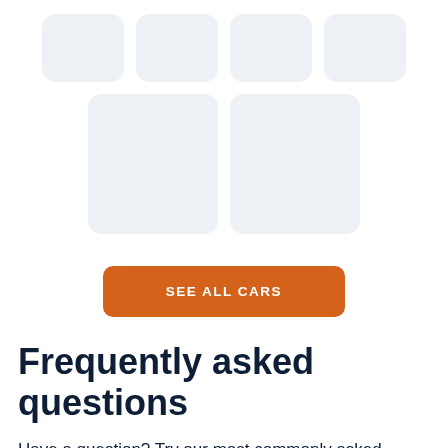[Figure (illustration): Grid of placeholder card thumbnails: top row of 4 small rounded rectangles in light gray-blue, and a second row with 2 larger rounded rectangles centered, representing car listing cards]
SEE ALL CARS
Frequently asked questions
Have a question? Try our most commonly asked